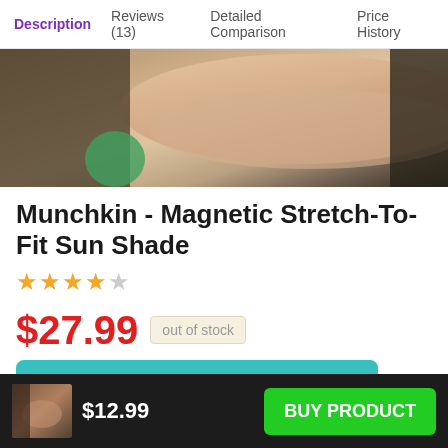Description | Reviews (13) | Detailed Comparison | Price History
[Figure (photo): Close-up photo of a person's arm/wrist, appears to show a car window sun shade product in use, outdoor background]
Munchkin - Magnetic Stretch-To-Fit Sun Shade
★★★★☆ (4 out of 5 stars)
$27.99  out of stock
BUY NOW
Walmart.com
as of 09/04/2022 2:43 pm
$12.99  BUY PRODUCT